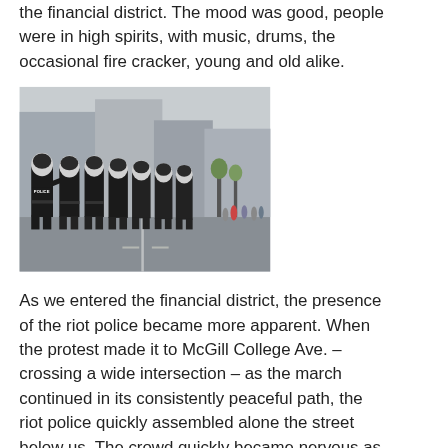the financial district. The mood was good, people were in high spirits, with music, drums, the occasional fire cracker, young and old alike.
[Figure (photo): Riot police in black helmets and gear lined up on a street, with one officer pointing. Protesters and bystanders visible in the background on a city street.]
As we entered the financial district, the presence of the riot police became more apparent. When the protest made it to McGill College Ave. – crossing a wide intersection – as the march continued in its consistently peaceful path, the riot police quickly assembled alone the street below us. The crowd quickly became nervous as the protest was declared “illegal.” Before I could even take a photo of the police down the street in a long line, they became charging the crowd. Protesters changed their direction and